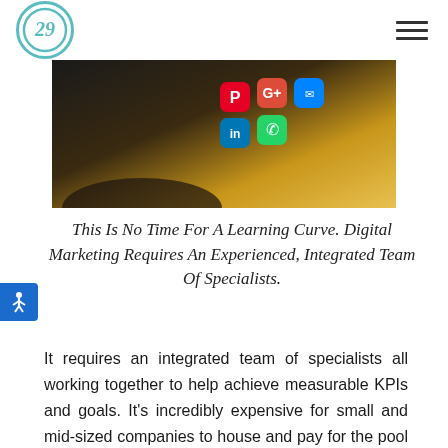29 [logo] [hamburger menu]
[Figure (photo): A hand holding a smartphone displaying a home screen with social media app icons including Pinterest, Google+, LinkedIn, WhatsApp, and Facebook Messenger on a warm-toned background.]
This Is No Time For A Learning Curve. Digital Marketing Requires An Experienced, Integrated Team Of Specialists.
It requires an integrated team of specialists all working together to help achieve measurable KPIs and goals. It's incredibly expensive for small and mid-sized companies to house and pay for the pool of talent and resources needed to be